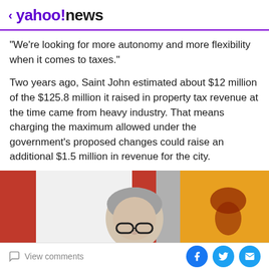< yahoo!news
"We're looking for more autonomy and more flexibility when it comes to taxes."
Two years ago, Saint John estimated about $12 million of the $125.8 million it raised in property tax revenue at the time came from heavy industry. That means charging the maximum allowed under the government's proposed changes could raise an additional $1.5 million in revenue for the city.
[Figure (photo): A man with grey hair and glasses in front of Canadian and New Brunswick flags]
View comments | Facebook share | Twitter share | Email share